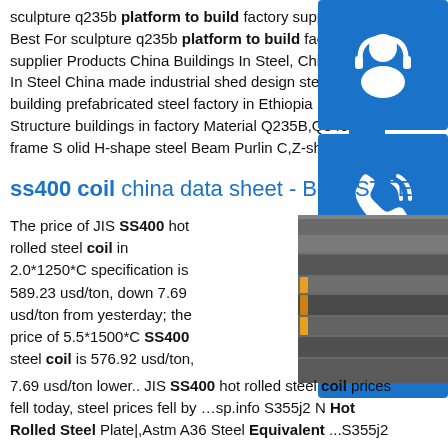sculpture q235b platform to build factory supplierOur Best For sculpture q235b platform to build factory supplier Products China Buildings In Steel, China Buildings In Steel China made industrial shed design steel st building prefabricated steel factory in Ethiopia Nam Structure buildings in factory Material Q235B,Q345 Main frame S olid H-shape steel Beam Purlin C,Z-shape
[Figure (illustration): Blue icon with headset/customer support symbol]
[Figure (illustration): Blue icon with phone/call symbol]
[Figure (illustration): Blue icon with Skype symbol]
ss400 coil china data sheet - BDN STEE
The price of JIS SS400 hot rolled steel coil in 2.0*1250*C specification is 589.23 usd/ton, down 7.69 usd/ton from yesterday; the price of 5.5*1500*C SS400 steel coil is 576.92 usd/ton, 7.69 usd/ton lower.. JIS SS400 hot rolled steel coil prices fell today, steel prices fell by …sp.info S355j2 N Hot Rolled Steel Plate|,Astm A36 Steel Equivalent ...S355j2
[Figure (photo): Photo of stacked steel plates/coils in industrial setting]